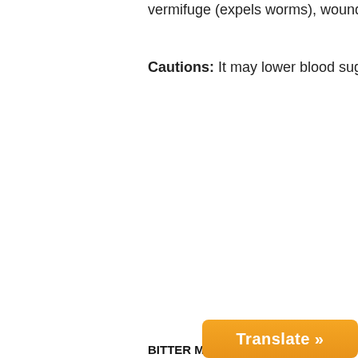vermifuge (expels worms), wound heal…
Cautions: It may lower blood sugar leve…
BITTER MELON (fruit/… RY